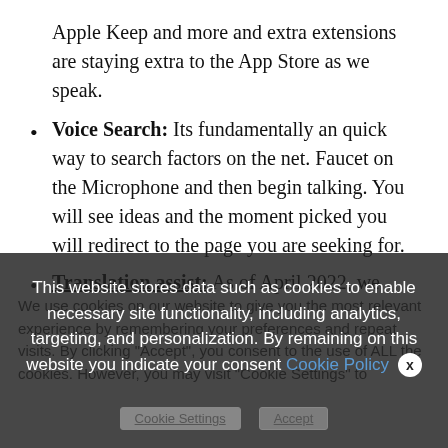Apple Keep and more and extra extensions are staying extra to the App Store as we speak.
Voice Search: Its fundamentally an quick way to search factors on the net. Faucet on the Microphone and then begin talking. You will see ideas and the moment picked you will redirect to the page you are seeking for.
Translation assist: As of April 2022, we
We use cookies on our website to give you the most relevant experience by remembering your preferences and repeat visits. By clicking "Accept", you consent to the use of ALL the cookies. However, you may visit "Cookie Settings" to
This website stores data such as cookies to enable necessary site functionality, including analytics, targeting, and personalization. By remaining on this website you indicate your consent Cookie Policy